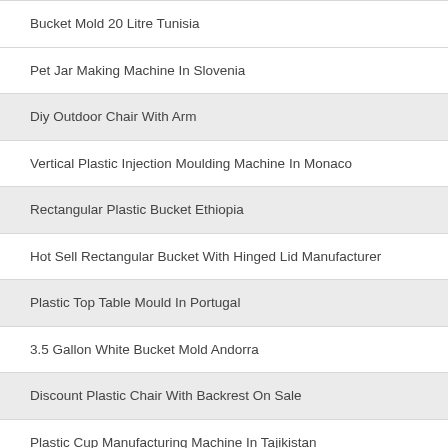Bucket Mold 20 Litre Tunisia
Pet Jar Making Machine In Slovenia
Diy Outdoor Chair With Arm
Vertical Plastic Injection Moulding Machine In Monaco
Rectangular Plastic Bucket Ethiopia
Hot Sell Rectangular Bucket With Hinged Lid Manufacturer
Plastic Top Table Mould In Portugal
3.5 Gallon White Bucket Mold Andorra
Discount Plastic Chair With Backrest On Sale
Plastic Cup Manufacturing Machine In Tajikistan